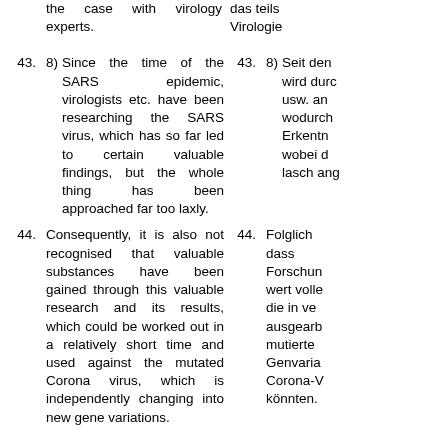the case with virology experts.
das teils Virologie
43. 8) Since the time of the SARS epidemic, virologists etc. have been researching the SARS virus, which has so far led to certain valuable findings, but the whole thing has been approached far too laxly.
43. 8) Seit den wird durch usw. an wodurch Erkenntn wobei d lasch ang
44. Consequently, it is also not recognised that valuable substances have been gained through this valuable research and its results, which could be worked out in a relatively short time and used against the mutated Corona virus, which is independently changing into new gene variations.
44. Folglich dass Forschun wert volle die in ve ausgearb mutierte Genvaria Corona-V könnten.